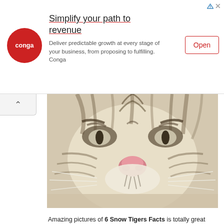[Figure (infographic): Advertisement banner for Conga. Red circular logo with 'conga' text on left. Headline 'Simplify your path to revenue' with underline. Body text: 'Deliver predictable growth at every stage of your business, from proposing to fulfilling. Conga'. Red-bordered 'Open' button on right. Small ad icons (triangle and X) top right.]
[Figure (photo): Close-up photograph of a white tiger's face showing eyes, nose, and whiskers with white and dark striped fur.]
Amazing pictures of 6 Snow Tigers Facts is totally great for your biological science knowledge. The image Resolution 415 x 500 px and the image size only 0 kb. Click the thumbnail to see the larger version.
Tagged with: interesting facts about snow tigers, snow tiger cubs, snow tiger habitat, snow tiger information, snow tigers facts, .